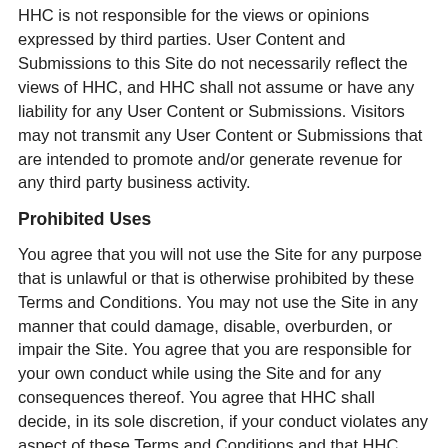HHC is not responsible for the views or opinions expressed by third parties. User Content and Submissions to this Site do not necessarily reflect the views of HHC, and HHC shall not assume or have any liability for any User Content or Submissions. Visitors may not transmit any User Content or Submissions that are intended to promote and/or generate revenue for any third party business activity.
Prohibited Uses
You agree that you will not use the Site for any purpose that is unlawful or that is otherwise prohibited by these Terms and Conditions. You may not use the Site in any manner that could damage, disable, overburden, or impair the Site. You agree that you are responsible for your own conduct while using the Site and for any consequences thereof. You agree that HHC shall decide, in its sole discretion, if your conduct violates any aspect of these Terms and Conditions and that HHC may take whatever action it deems appropriate to address such violations, including without limitation notification